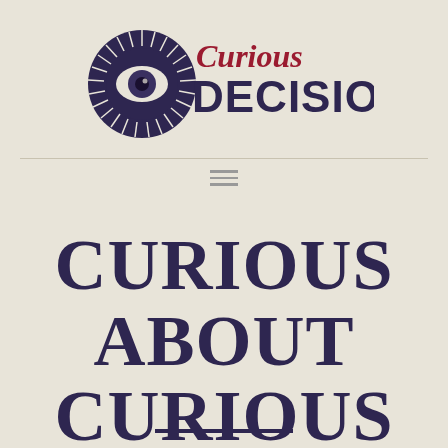[Figure (logo): Curious Decisions logo with stylized eye/vinyl record graphic in dark purple and crimson red, text reads 'Curious DECISIONS']
CURIOUS ABOUT CURIOUS DECISIONS?